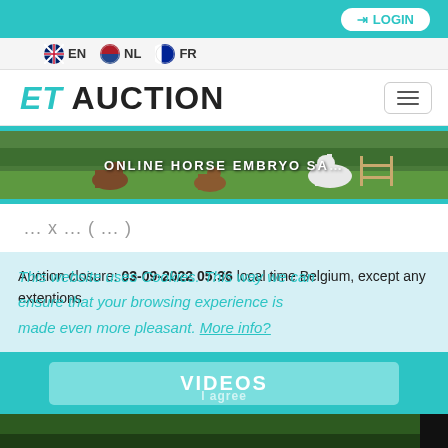LOGIN
EN  NL  FR
ET AUCTION
[Figure (photo): Hero banner showing horses grazing in a green field with trees in background. White text overlay reads: ONLINE HORSE EMBRYO SA...]
... x ... ( ... )
Auction closure: 03-09-2022 05:36 local time Belgium, except any extentions
This website uses Cookies. This way we can ensure that your browsing experience is made even more pleasant. More info?
VIDEOS
I agree
[Figure (photo): Bottom strip showing dark and green areas, partial view of video thumbnail]